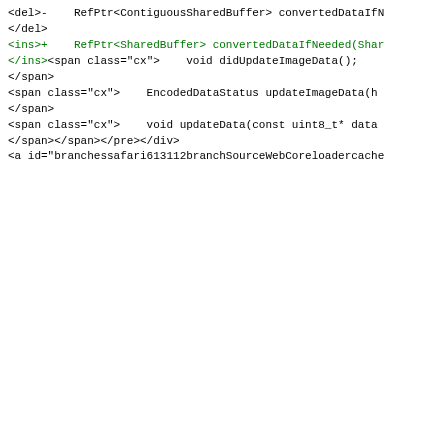<a id="branchessafari613112branchSourceWebCoreloadercache
</a>
<div class="modfile"><h4>Modified: branches/safari-613.1.12-branch/Source/WebCore/loader/cache/CachedImage.h (287060
</h4>
<pre class="diff"><span>
<span class="info">--- branches/safari-613.1.12-branch/Source/WebCore/loader/cache/CachedImage.h	2
12-15 03:00:46 UTC (rev 287060)
+++ branches/safari-613.1.12-branch/Source/WebCore/loader/cache/CachedImage.h	2021-12-15 03:28:23 UTC (rev 287061)
</span><span class="lines">@@ -125,7 +125,7 @@
</span>
<span class="cx">     void destroyDecodedData() override;
</span><span class="cx">
</span>
<span class="cx">     bool shouldDeferUpdateImageData() c
</span>
<del>-     RefPtr<ContiguousSharedBuffer> convertedDataIfN
</del>
<ins>+     RefPtr<SharedBuffer> convertedDataIfNeeded(Shar
</ins><span class="cx">     void didUpdateImageData();
</span>
<span class="cx">     EncodedDataStatus updateImageData(h
</span>
<span class="cx">     void updateData(const uint8_t* data
</span></span></pre></div>
<a id="branchessafari613112branchSourceWebCoreloadercache